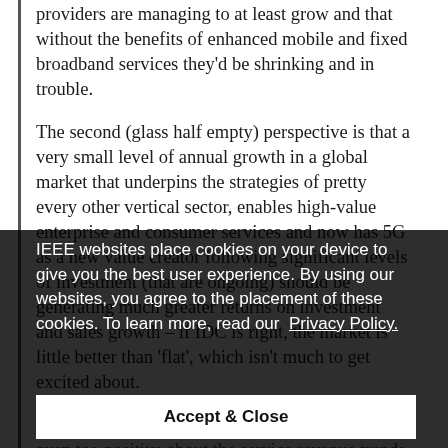providers are managing to at least grow and that without the benefits of enhanced mobile and fixed broadband services they'd be shrinking and in trouble.
The second (glass half empty) perspective is that a very small level of annual growth in a global market that underpins the strategies of pretty every other vertical sector, enables high-value enterprise and consumer services and now has 5G as a new value creator following significant levels of investment (that are ongoing) should be generating much greater returns on investment and sales growth – if IDC is right, the market is little better than 'flat', which isn't much to get excited about.
So is IDC being too pessimistic? Or realistic? Or even too positive about the service revenue trends of the telcos? The world is now revolving
IEEE websites place cookies on your device to give you the best user experience. By using our websites, you agree to the placement of these cookies. To learn more, read our Privacy Policy.
Accept & Close